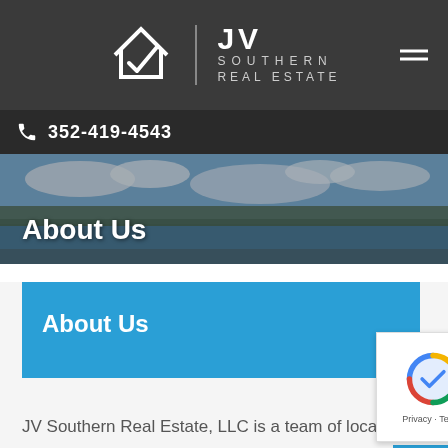[Figure (logo): JV Southern Real Estate logo with house icon and text on dark gray header background]
352-419-4543
[Figure (photo): Aerial landscape photo of a lake with trees and cloudy sky used as hero banner background]
About Us
About Us
[Figure (other): Google reCAPTCHA badge with logo and Privacy · Terms links]
JV Southern Real Estate, LLC is a team of local real estate experts ready to help you sell your home. Our process begins with an evaluation of